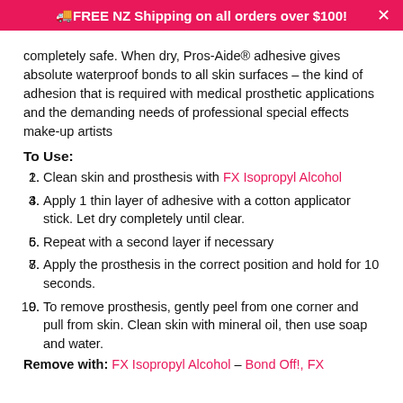FREE NZ Shipping on all orders over $100!
completely safe. When dry, Pros-Aide® adhesive gives absolute waterproof bonds to all skin surfaces – the kind of adhesion that is required with medical prosthetic applications and the demanding needs of professional special effects make-up artists
To Use:
Clean skin and prosthesis with FX Isopropyl Alcohol
Apply 1 thin layer of adhesive with a cotton applicator stick. Let dry completely until clear.
Repeat with a second layer if necessary
Apply the prosthesis in the correct position and hold for 10 seconds.
To remove prosthesis, gently peel from one corner and pull from skin. Clean skin with mineral oil, then use soap and water.
Remove with: FX Isopropyl Alcohol – Bond Off!, FX